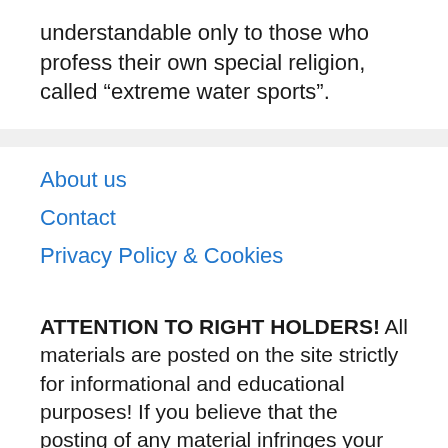understandable only to those who profess their own special religion, called “extreme water sports”.
About us
Contact
Privacy Policy & Cookies
ATTENTION TO RIGHT HOLDERS! All materials are posted on the site strictly for informational and educational purposes! If you believe that the posting of any material infringes your copyright, be sure to contact us through the contact form and your material will be removed!